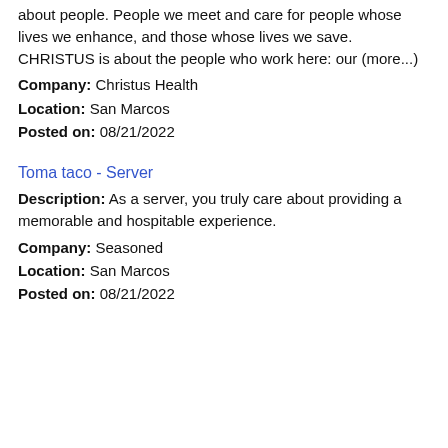about people. People we meet and care for people whose lives we enhance, and those whose lives we save. CHRISTUS is about the people who work here: our (more...)
Company: Christus Health
Location: San Marcos
Posted on: 08/21/2022
Toma taco - Server
Description: As a server, you truly care about providing a memorable and hospitable experience.
Company: Seasoned
Location: San Marcos
Posted on: 08/21/2022